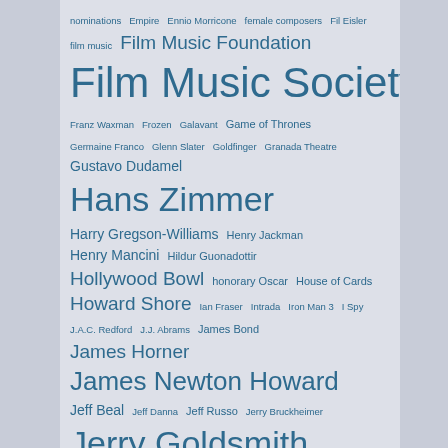nominations Empire Ennio Morricone female composers Fil Eisler film music Film Music Foundation Film Music Society Franz Waxman Frozen Galavant Game of Thrones Germaine Franco Glenn Slater Goldfinger Granada Theatre Gustavo Dudamel Hans Zimmer Harry Gregson-Williams Henry Jackman Henry Mancini Hildur Guonadottir Hollywood Bowl honorary Oscar House of Cards Howard Shore Ian Fraser Intrada Iron Man 3 I Spy J.A.C. Redford J.J. Abrams James Bond James Horner James Newton Howard Jeff Beal Jeff Danna Jeff Russo Jerry Bruckheimer Jerry Goldsmith Jerry Goldsmith Project Joe Kraemer Johann Johannsson John Barry John Debney John Lunn John Mauceri John Powell John Williams Jon Favreau Jonny Greenwood Julie Andrews Junkie